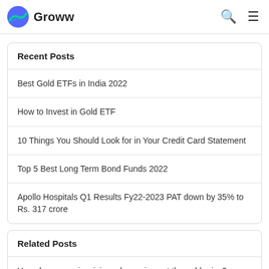Groww
Recent Posts
Best Gold ETFs in India 2022
How to Invest in Gold ETF
10 Things You Should Look for in Your Credit Card Statement
Top 5 Best Long Term Bond Funds 2022
Apollo Hospitals Q1 Results Fy22-2023 PAT down by 35% to Rs. 317 crore
Related Posts
How do economic crisis and wars impact the gold price?